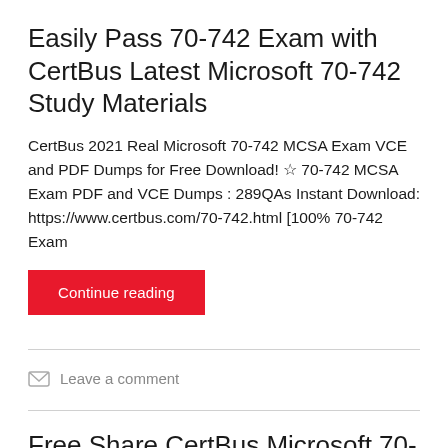Easily Pass 70-742 Exam with CertBus Latest Microsoft 70-742 Study Materials
CertBus 2021 Real Microsoft 70-742 MCSA Exam VCE and PDF Dumps for Free Download! ☆ 70-742 MCSA Exam PDF and VCE Dumps : 289QAs Instant Download: https://www.certbus.com/70-742.html [100% 70-742 Exam
Continue reading
Leave a comment
Free Share CertBus Microsoft 70-767 Exam Dumps and Practice Questions